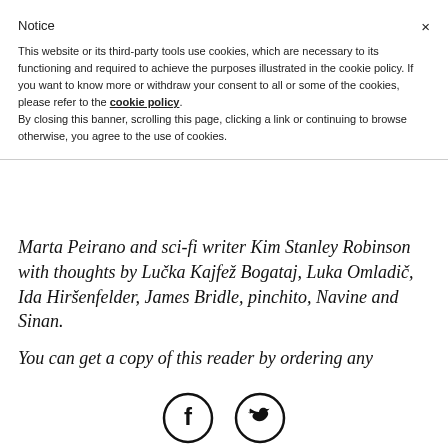Notice
This website or its third-party tools use cookies, which are necessary to its functioning and required to achieve the purposes illustrated in the cookie policy. If you want to know more or withdraw your consent to all or some of the cookies, please refer to the cookie policy.
By closing this banner, scrolling this page, clicking a link or continuing to browse otherwise, you agree to the use of cookies.
Marta Peirano and sci-fi writer Kim Stanley Robinson with thoughts by Lučka Kajfež Bogataj, Luka Omladič, Ida Hiršenfelder, James Bridle, pinchito, Navine and Sinan.
You can get a copy of this reader by ordering any
[Figure (illustration): Facebook and Twitter social media icons (circular with f and bird logos)]